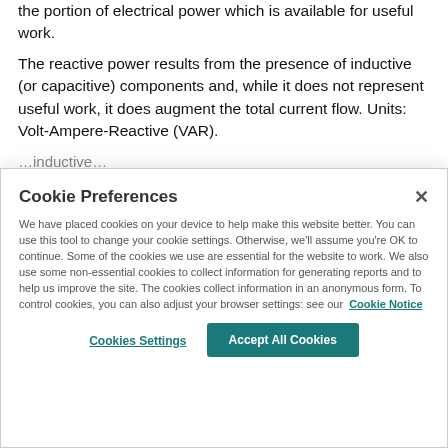the portion of electrical power which is available for useful work.
The reactive power results from the presence of inductive (or capacitive) components and, while it does not represent useful work, it does augment the total current flow. Units: Volt-Ampere-Reactive (VAR).
Cookie Preferences
We have placed cookies on your device to help make this website better. You can use this tool to change your cookie settings. Otherwise, we'll assume you're OK to continue. Some of the cookies we use are essential for the website to work. We also use some non-essential cookies to collect information for generating reports and to help us improve the site. The cookies collect information in an anonymous form. To control cookies, you can also adjust your browser settings: see our Cookie Notice
Cookies Settings
Accept All Cookies